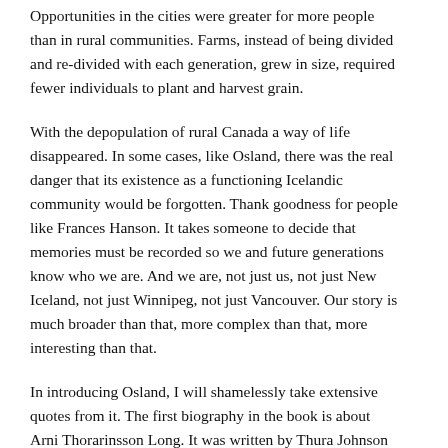Opportunities in the cities were greater for more people than in rural communities. Farms, instead of being divided and re-divided with each generation, grew in size, required fewer individuals to plant and harvest grain.
With the depopulation of rural Canada a way of life disappeared. In some cases, like Osland, there was the real danger that its existence as a functioning Icelandic community would be forgotten. Thank goodness for people like Frances Hanson. It takes someone to decide that memories must be recorded so we and future generations know who we are. And we are, not just us, not just New Iceland, not just Winnipeg, not just Vancouver. Our story is much broader than that, more complex than that, more interesting than that.
In introducing Osland, I will shamelessly take extensive quotes from it. The first biography in the book is about Arni Thorarinsson Long. It was written by Thura Johnson in 1966.